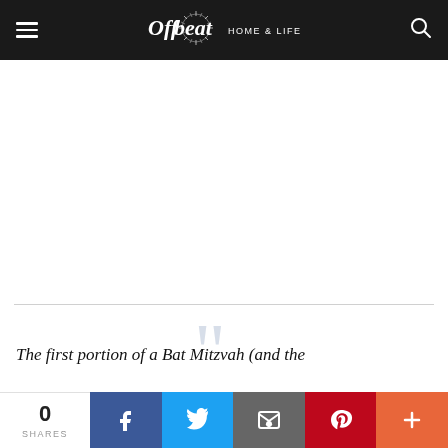Offbeat Home & Life — navigation bar with hamburger menu, logo, and search icon
[Figure (photo): Large white/blank image area below the navigation bar]
The first portion of a Bat Mitzvah (and the
0 SHARES | Facebook | Twitter | Email | Pinterest | More